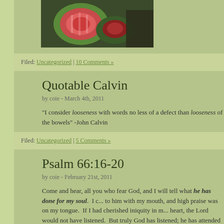[Figure (photo): Close-up photo of a cut fruit (appears to be a prickly pear or similar), showing red/pink interior flesh against green exterior, on a dark background]
Filed: Uncategorized | 10 Comments »
Quotable Calvin
by coie - March 4th, 2011
"I consider looseness with words no less of a defect than looseness of the bowels" -John Calvin
Filed: Uncategorized | 5 Comments »
Psalm 66:16-20
by coie - February 21st, 2011
Come and hear, all you who fear God, and I will tell what he has done for my soul.  I c... to him with my mouth, and high praise was on my tongue.  If I had cherished iniquity in m... heart, the Lord would not have listened.  But truly God has listened; he has attended to t... voice of my prayer.  Blessed be God, because he has not rejected my prayer or remove... steadfast love from me!